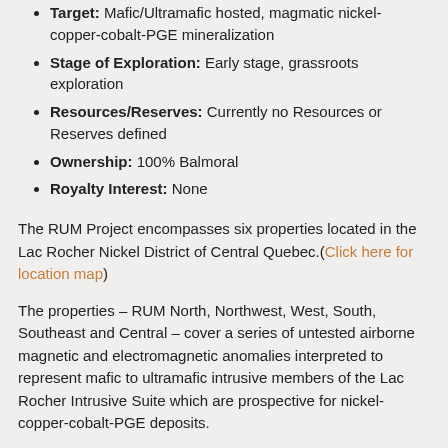Target: Mafic/Ultramafic hosted, magmatic nickel-copper-cobalt-PGE mineralization
Stage of Exploration: Early stage, grassroots exploration
Resources/Reserves: Currently no Resources or Reserves defined
Ownership: 100% Balmoral
Royalty Interest: None
The RUM Project encompasses six properties located in the Lac Rocher Nickel District of Central Quebec.(Click here for location map)
The properties – RUM North, Northwest, West, South, Southeast and Central – cover a series of untested airborne magnetic and electromagnetic anomalies interpreted to represent mafic to ultramafic intrusive members of the Lac Rocher Intrusive Suite which are prospective for nickel-copper-cobalt-PGE deposits.
The RUM properties were acquired by staking by Balmoral between mid-2018 and mid-2019. Three of the properties – RUM South, Southeast and Central, were the focus of a